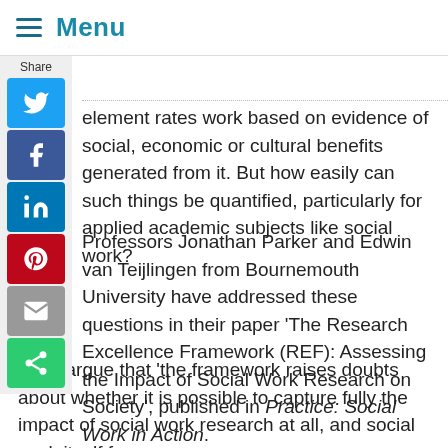Menu
[Figure (other): Social media share sidebar with Share label and buttons for Twitter, Facebook, LinkedIn, Pinterest, Email, and general share]
element rates work based on evidence of social, economic or cultural benefits generated from it. But how easily can such things be quantified, particularly for applied academic subjects like social work?
Professors Jonathan Parker and Edwin van Teijlingen from Bournemouth University have addressed these questions in their paper ‘The Research Excellence Framework (REF): Assessing the Impact of Social Work Research on Society’, published in Practice: Social Work in Action.
They argue that ‘the framework raises doubts about whether it is possible to capture fully the impact of social work research at all, and social work itself for